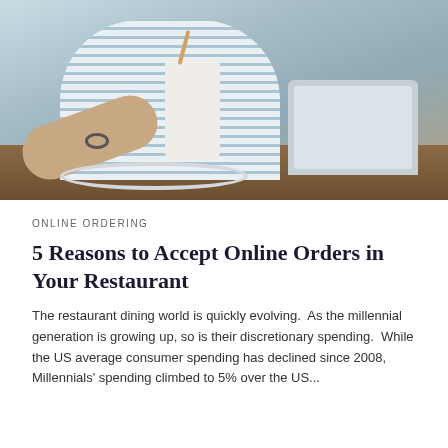[Figure (photo): Person in striped shirt sitting at a wooden desk eating noodles from a white container with chopsticks, with a laptop open on the right side of the desk. Cables visible on the desk surface.]
ONLINE ORDERING
5 Reasons to Accept Online Orders in Your Restaurant
The restaurant dining world is quickly evolving.  As the millennial generation is growing up, so is their discretionary spending.  While the US average consumer spending has declined since 2008, Millennials' spending climbed to 5% over the US...